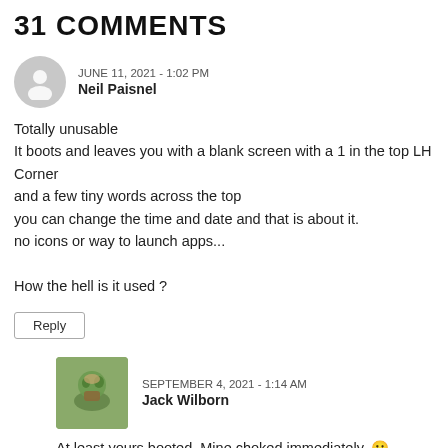31 COMMENTS
JUNE 11, 2021 - 1:02 PM
Neil Paisnel
Totally unusable
It boots and leaves you with a blank screen with a 1 in the top LH Corner and a few tiny words across the top
you can change the time and date and that is about it.
no icons or way to launch apps...

How the hell is it used ?
Reply
SEPTEMBER 4, 2021 - 1:14 AM
Jack Wilborn
At least yours booted. Mine choked immediately. 😕
Reply